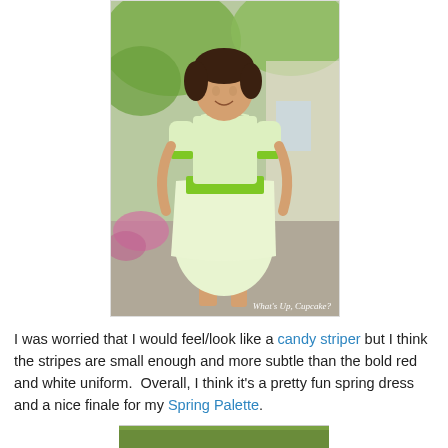[Figure (photo): A woman wearing a light green dress with bright green waist sash and sleeve trim, standing outdoors on a patio/walkway with trees and flowers in background. Watermark reads 'What's Up, Cupcake?' in white italic text at bottom right of image.]
I was worried that I would feel/look like a candy striper but I think the stripes are small enough and more subtle than the bold red and white uniform.  Overall, I think it's a pretty fun spring dress and a nice finale for my Spring Palette.
[Figure (photo): Partial view of another photo at the bottom of the page, cropped, showing green outdoor scene.]